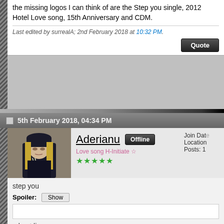the missing logos I can think of are the Step you single, 2012 Hotel Love song, 15th Anniversary and CDM.
Last edited by surrealA; 2nd February 2018 at 10:32 PM.
5th February 2018, 04:34 PM
[Figure (photo): Profile photo of user Aderianu: blonde haired person in dark outfit and beanie hat]
Aderianu Offline
Love song H-Initiate ☆
★★★★★
Join Date:
Location:
Posts: 1
step you
Spoiler: Show
a best live
Spoiler: Show